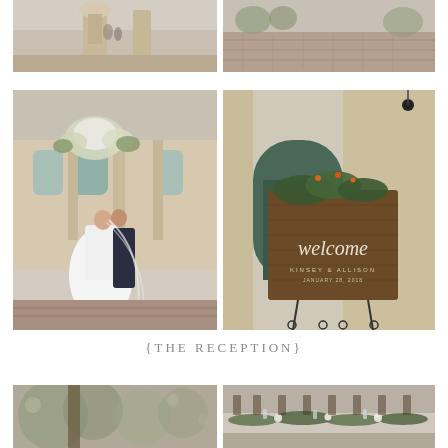[Figure (photo): Top left photo: outdoor wedding ceremony or venue, stone balustrade and urn, couple in background]
[Figure (photo): Top right photo: brick courtyard or terrace, outdoor venue, warm afternoon light]
[Figure (photo): Middle left photo: bride and groom kissing in front of Italian villa-style building with large floral arrangements, bride in ball gown with veil]
[Figure (photo): Middle right photo: rustic wooden welcome sign decorated with tropical greenery and orange berries, leaning against stone building]
{THE RECEPTION}
[Figure (photo): Bottom left photo: blurred outdoor trees, soft bokeh, natural setting]
[Figure (photo): Bottom right photo: long reception table with greenery garland runner, chiavari chairs, outdoor wedding reception setup]